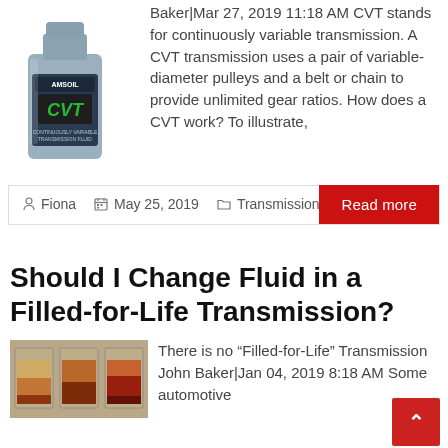[Figure (photo): AMSOIL CVT transmission fluid bottle in light blue/grey color]
Baker|Mar 27, 2019 11:18 AM CVT stands for continuously variable transmission. A CVT transmission uses a pair of variable-diameter pulleys and a belt or chain to provide unlimited gear ratios. How does a CVT work? To illustrate,
Fiona   May 25, 2019   Transmissions
Read more
Should I Change Fluid in a Filled-for-Life Transmission?
[Figure (photo): Jars containing transmission fluid samples showing different colors]
There is no “Filled-for-Life” Transmission John Baker|Jan 04, 2019 8:18 AM  Some automotive